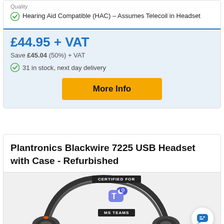Hearing Aid Compatible (HAC) – Assumes Telecoil in Headset
£44.95 + VAT
Save £45.04 (50%) + VAT
31 in stock, next day delivery
More Info
Plantronics Blackwire 7225 USB Headset with Case - Refurbished
[Figure (photo): Plantronics Blackwire 7225 USB headset photo with MS Teams certified badge overlay and chat support button]